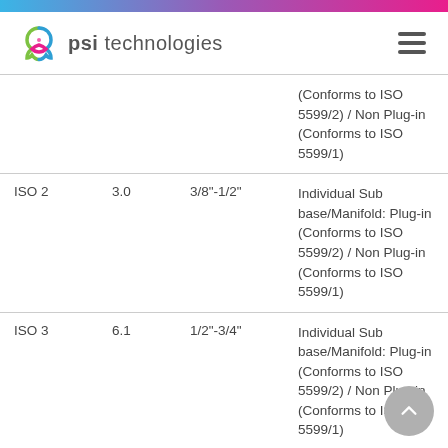psi technologies
|  |  |  |  |
| --- | --- | --- | --- |
|  |  |  | (Conforms to ISO 5599/2) / Non Plug-in (Conforms to ISO 5599/1) |
| ISO 2 | 3.0 | 3/8"-1/2" | Individual Sub base/Manifold: Plug-in (Conforms to ISO 5599/2) / Non Plug-in (Conforms to ISO 5599/1) |
| ISO 3 | 6.1 | 1/2"-3/4" | Individual Sub base/Manifold: Plug-in (Conforms to ISO 5599/2) / Non Plug-in (Conforms to ISO 5599/1) |